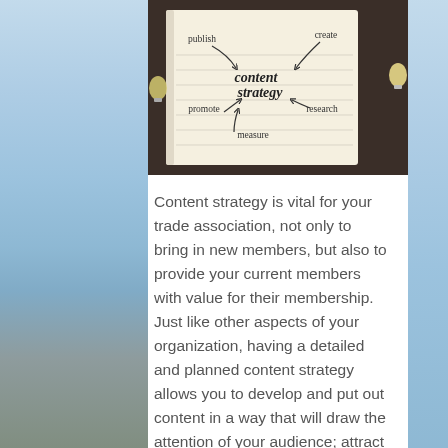[Figure (photo): Notebook with 'content strategy' written in the center, surrounded by the words: publish, create, promote, research, measure — connected with arrows. Two light bulbs visible on either side of the notebook on a dark wooden surface.]
Content strategy is vital for your trade association, not only to bring in new members, but also to provide your current members with value for their membership. Just like other aspects of your organization, having a detailed and planned content strategy allows you to develop and put out content in a way that will draw the attention of your audience; attract new members; and